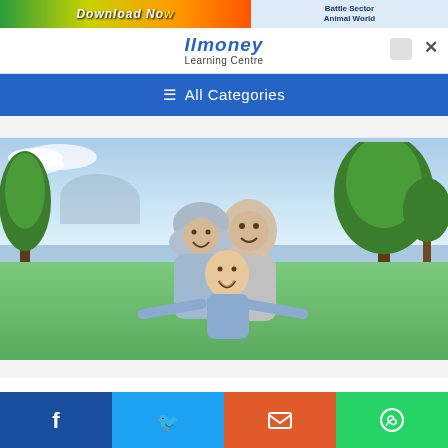[Figure (screenshot): Banner advertisement with 'Download Now' text and colorful game/app imagery on left, 'Battle Sector Animal World' text on right]
Ilmoney Learning Centre
☰ All Categories
[Figure (photo): Family photo of a mother in hijab, father, and young boy with arms spread like airplane wings in a green park setting]
Facebook | Twitter | Email | WhatsApp